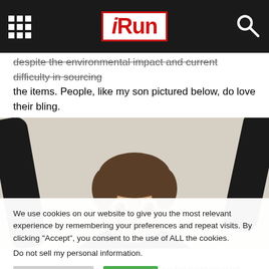iRun
despite the environmental impact and current difficulty in sourcing the items. People, like my son pictured below, do love their bling.
[Figure (photo): A child with wide eyes and arms raised, wearing a dark long-sleeve shirt, against a beige/cream wall background.]
We use cookies on our website to give you the most relevant experience by remembering your preferences and repeat visits. By clicking "Accept", you consent to the use of ALL the cookies.
Do not sell my personal information.